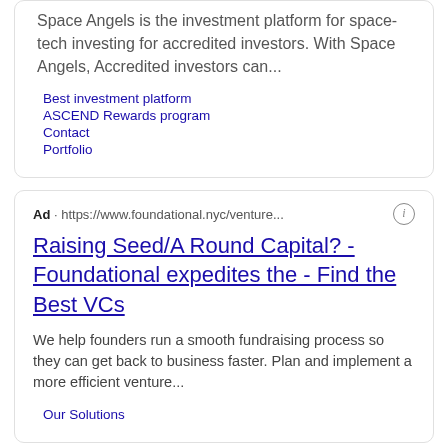Space Angels is the investment platform for space-tech investing for accredited investors. With Space Angels, Accredited investors can...
Best investment platform
ASCEND Rewards program
Contact
Portfolio
Ad · https://www.foundational.nyc/venture...
Raising Seed/A Round Capital? - Foundational expedites the - Find the Best VCs
We help founders run a smooth fundraising process so they can get back to business faster. Plan and implement a more efficient venture...
Our Solutions